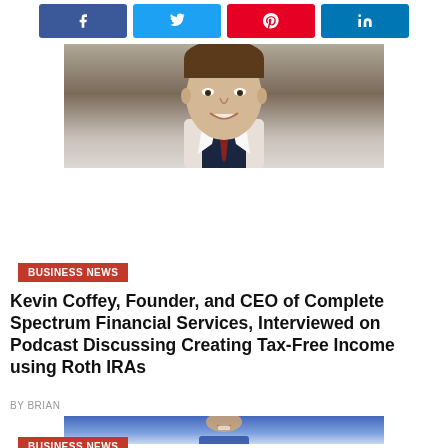[Figure (other): Social share buttons: Facebook, Twitter, Pinterest, LinkedIn]
[Figure (photo): Headshot of a man in a suit, smiling, Kevin Coffey]
BUSINESS NEWS
Kevin Coffey, Founder, and CEO of Complete Spectrum Financial Services, Interviewed on Podcast Discussing Creating Tax-Free Income using Roth IRAs
BY BRIAN
[Figure (photo): Woman smiling, wearing a blue outfit with jewelry, photographed outdoors]
BUSINESS NEWS